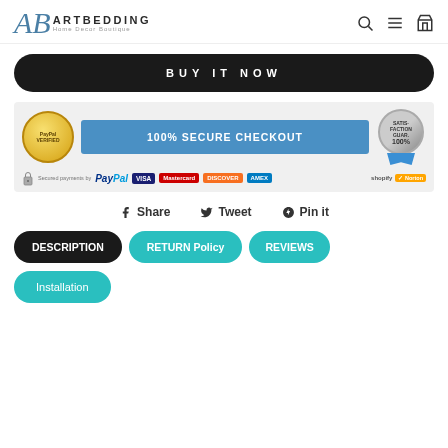ARTBEDDING Home Decor Boutique
BUY IT NOW
[Figure (infographic): 100% Secure Checkout banner with PayPal verified badge, payment card logos (Visa, MasterCard, Discover, AmEx), satisfaction guaranteed badge, Shopify and Norton trust badges]
Share  Tweet  Pin it
DESCRIPTION  RETURN Policy  REVIEWS
Installation